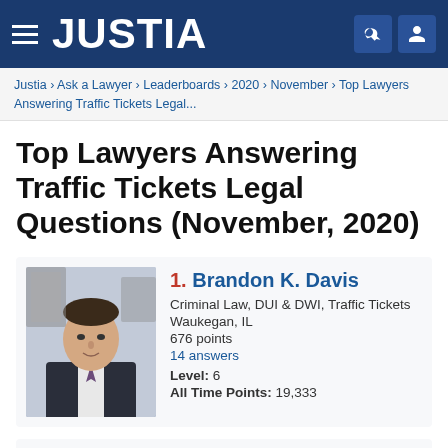JUSTIA
Justia › Ask a Lawyer › Leaderboards › 2020 › November › Top Lawyers Answering Traffic Tickets Legal...
Top Lawyers Answering Traffic Tickets Legal Questions (November, 2020)
1. Brandon K. Davis
Criminal Law, DUI & DWI, Traffic Tickets
Waukegan, IL
676 points
14 answers
Level: 6
All Time Points: 19,333
2. Juan Qoink